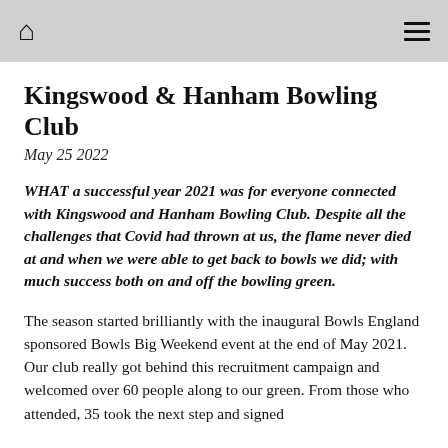Kingswood & Hanham Bowling Club [navigation bar with home icon and menu icon]
Kingswood & Hanham Bowling Club
May 25 2022
WHAT a successful year 2021 was for everyone connected with Kingswood and Hanham Bowling Club. Despite all the challenges that Covid had thrown at us, the flame never died at and when we were able to get back to bowls we did; with much success both on and off the bowling green.
The season started brilliantly with the inaugural Bowls England sponsored Bowls Big Weekend event at the end of May 2021. Our club really got behind this recruitment campaign and welcomed over 60 people along to our green. From those who attended, 35 took the next step and signed